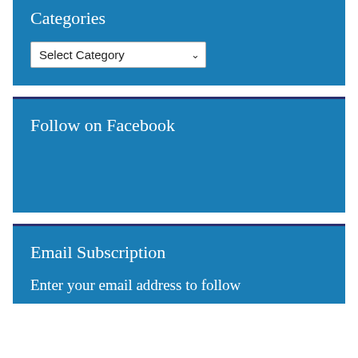Categories
[Figure (screenshot): A dropdown select box labeled 'Select Category' with a chevron arrow on a blue background]
Follow on Facebook
Email Subscription
Enter your email address to follow